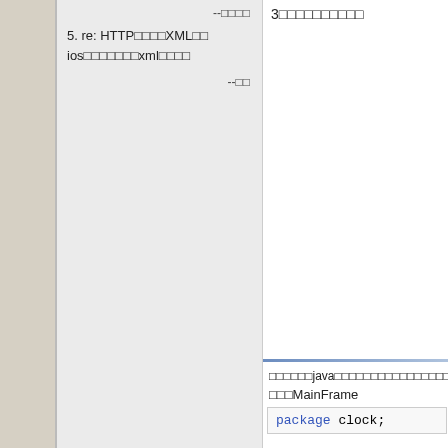--□□□□
5. re: HTTP□□□□XML□□
ios□□□□□□□xml□□□□
--□□
3□□□□□□□□□□
□□□□□□java□□□□□□□□□□□□□□□□□□□□□□
□□□MainFrame
package clock;